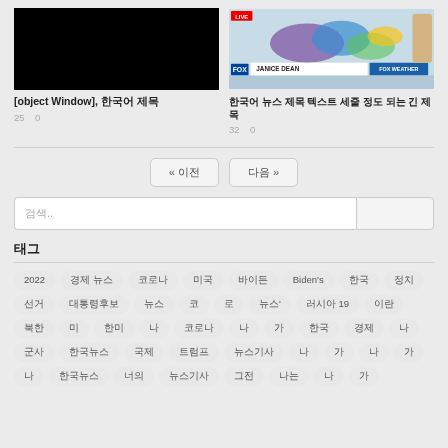[Figure (screenshot): Black thumbnail image placeholder]
[Figure (screenshot): Fox Weather live broadcast screenshot with Janice Dean, showing weather map of US]
[object Window], 한국어 제목
25  0
한국어 뉴스 제목 텍스트 세줄 정도 되는 긴 제목
32  0
« 이전  다음 »
검색..
태그
2022
경제 뉴스
코로나
미국
바이든
Biden's
한국
정치
선거
대통령후보
뉴스
코
로
뉴스'
러시아 19
이란
북한
미
한미
나
코로나
나
가
한국
경제
뉴스
군사
한국뉴스
국제
트럼프
뉴스기사
나
가
나
가
나
한국뉴스
너의
뉴스기사
그전
나는
나
가